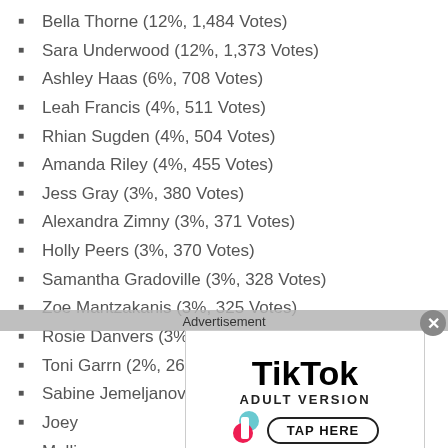Bella Thorne (12%, 1,484 Votes)
Sara Underwood (12%, 1,373 Votes)
Ashley Haas (6%, 708 Votes)
Leah Francis (4%, 511 Votes)
Rhian Sugden (4%, 504 Votes)
Amanda Riley (4%, 455 Votes)
Jess Gray (3%, 380 Votes)
Alexandra Zimny (3%, 371 Votes)
Holly Peers (3%, 370 Votes)
Samantha Gradoville (3%, 328 Votes)
Zoe Mantzakanis (3%, 325 Votes)
Rosie Danvers (3%, 301 Votes)
Toni Garrn (2%, 261 Votes)
Sabine Jemeljanova (2%, 260 Votes)
Joey [obscured]
Melli [obscured]
Autu [obscured]
Thai [obscured]
Jessica Kudelcia (2%, 222 Votes)